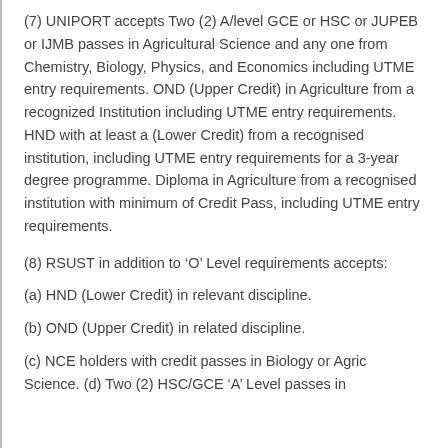(7) UNIPORT accepts Two (2) A/level GCE or HSC or JUPEB or IJMB passes in Agricultural Science and any one from Chemistry, Biology, Physics, and Economics including UTME entry requirements. OND (Upper Credit) in Agriculture from a recognized Institution including UTME entry requirements. HND with at least a (Lower Credit) from a recognised institution, including UTME entry requirements for a 3-year degree programme. Diploma in Agriculture from a recognised institution with minimum of Credit Pass, including UTME entry requirements.
(8) RSUST in addition to ‘O’ Level requirements accepts:
(a) HND (Lower Credit) in relevant discipline.
(b) OND (Upper Credit) in related discipline.
(c) NCE holders with credit passes in Biology or Agric Science. (d) Two (2) HSC/GCE ‘A’ Level passes in